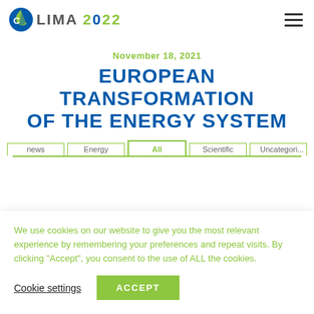CLIMA 2022
November 18, 2021
EUROPEAN TRANSFORMATION OF THE ENERGY SYSTEM
All | news | Energy | Scientific | Uncategori...
We use cookies on our website to give you the most relevant experience by remembering your preferences and repeat visits. By clicking “Accept”, you consent to the use of ALL the cookies.
Cookie settings   ACCEPT